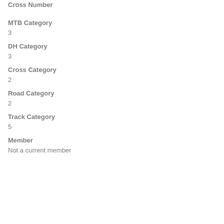Cross Number
MTB Category
3
DH Category
3
Cross Category
2
Road Category
2
Track Category
5
Member
Not a current member